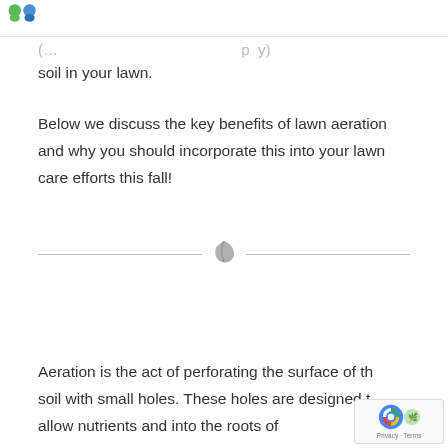[Figure (illustration): Two cartoon avatar characters (green and blue) partially visible at the top left corner of the page]
soil in your lawn.
Below we discuss the key benefits of lawn aeration and why you should incorporate this into your lawn care efforts this fall!
[Figure (illustration): A decorative gray leaf/plant icon centered on a horizontal divider line]
Aeration is the act of perforating the surface of the soil with small holes. These holes are designed to allow nutrients and into the roots of